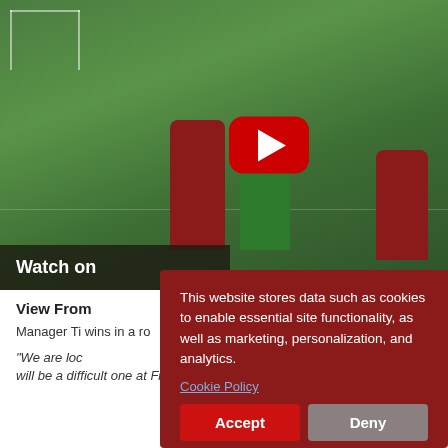[Figure (screenshot): Screenshot of a sports website showing a football/soccer match video thumbnail with YouTube play button overlay. Players in red and green jerseys are visible on a grass pitch. A 'Watch on' bar is visible at the bottom of the video thumbnail.]
Watch on
This website stores data such as cookies to enable essential site functionality, as well as marketing, personalization, and analytics.
Cookie Policy
Accept
Deny
View From
Manager Ti wins in a ro
"We are loc will be a difficult one at Finn Harps.